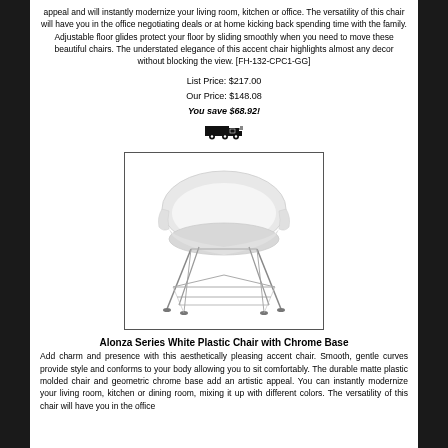appeal and will instantly modernize your living room, kitchen or office. The versatility of this chair will have you in the office negotiating deals or at home kicking back spending time with the family. Adjustable floor glides protect your floor by sliding smoothly when you need to move these beautiful chairs. The understated elegance of this accent chair highlights almost any decor without blocking the view. [FH-132-CPC1-GG]
List Price: $217.00
Our Price: $148.08
You save $68.92!
[Figure (photo): Alonza Series White Plastic Chair with Chrome Base — white molded plastic seat with chrome wire base legs, shown on white background inside a bordered box]
Alonza Series White Plastic Chair with Chrome Base
Add charm and presence with this aesthetically pleasing accent chair. Smooth, gentle curves provide style and conforms to your body allowing you to sit comfortably. The durable matte plastic molded chair and geometric chrome base add an artistic appeal. You can instantly modernize your living room, kitchen or dining room, mixing it up with different colors. The versatility of this chair will have you in the office